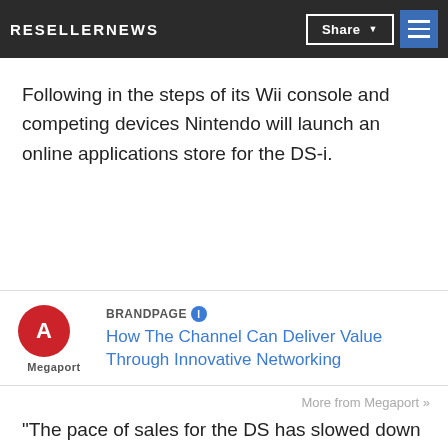RESELLERNEWS | Share | [menu]
held to announce the device but Nintendo said it won't be available overseas until 2009.
Following in the steps of its Wii console and competing devices Nintendo will launch an online applications store for the DS-i.
[Figure (logo): Megaport logo with red circular icon and 'Megaport' text, alongside BrandPage label and link 'How The Channel Can Deliver Value Through Innovative Networking']
More from Megaport »
"The pace of sales for the DS has slowed down compared to earlier periods, but the DS remains to be selling at a brisk pace compared to previously mainstream platforms," Iwata said.